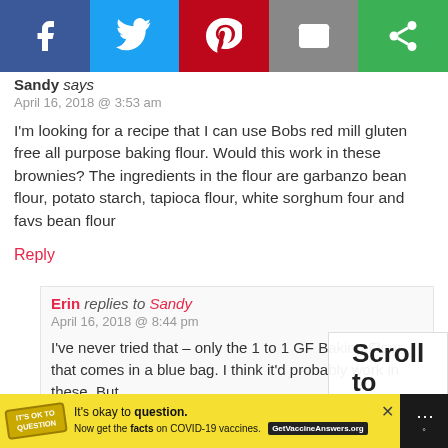[Figure (screenshot): Social media share bar with Facebook, Twitter, Pinterest, Email, and Share buttons]
Sandy says
April 16, 2018 @ 3:53 am
I'm looking for a recipe that I can use Bobs red mill gluten free all purpose baking flour. Would this work in these brownies? The ingredients in the flour are garbanzo bean flour, potato starch, tapioca flour, white sorghum four and favs bean flour
Reply
Erin replies to Sandy
April 16, 2018 @ 8:44 pm
I've never tried that – only the 1 to 1 GF Baking Flour that comes in a blue bag. I think it'd probably work in these. But
[Figure (screenshot): Ad banner: It's okay to question. Now get the facts on COVID-19 vaccines. GetVaccineAnswers.org]